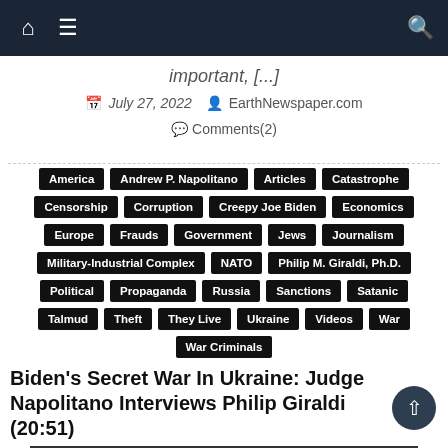Navigation bar with home, menu, and search icons
important, [...]
July 27, 2022   EarthNewspaper.com   Comments(2)
America
Andrew P. Napolitano
Articles
Catastrophe
Censorship
Corruption
Creepy Joe Biden
Economics
Europe
Frauds
Government
Jews
Journalism
Military-Industrial Complex
NATO
Philip M. Giraldi, Ph.D.
Political
Propaganda
Russia
Sanctions
Satanic
Talmud
Theft
They Live
Ukraine
Videos
War
War Criminals
Biden's Secret War In Ukraine: Judge Napolitano Interviews Philip Giraldi (20:51)